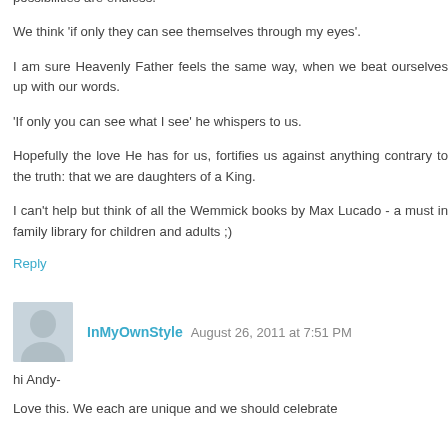possibilities are endless.
We think 'if only they can see themselves through my eyes'.
I am sure Heavenly Father feels the same way, when we beat ourselves up with our words.
'If only you can see what I see' he whispers to us.
Hopefully the love He has for us, fortifies us against anything contrary to the truth: that we are daughters of a King.
I can't help but think of all the Wemmick books by Max Lucado - a must in family library for children and adults ;)
Reply
InMyOwnStyle  August 26, 2011 at 7:51 PM
hi Andy-
Love this. We each are unique and we should celebrate...